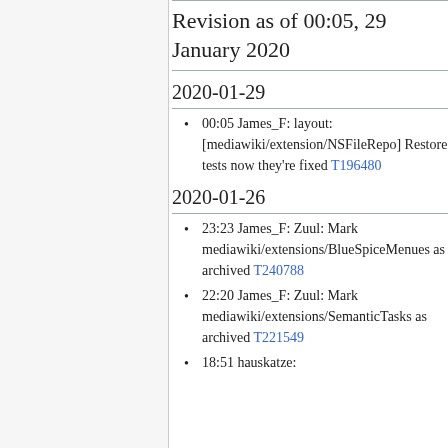Revision as of 00:05, 29 January 2020
2020-01-29
00:05 James_F: layout: [mediawiki/extension/NSFileRepo] Restore tests now they're fixed T196480
2020-01-26
23:23 James_F: Zuul: Mark mediawiki/extensions/BlueSpiceMenues as archived T240788
22:20 James_F: Zuul: Mark mediawiki/extensions/SemanticTasks as archived T221549
18:51 hauskatze: